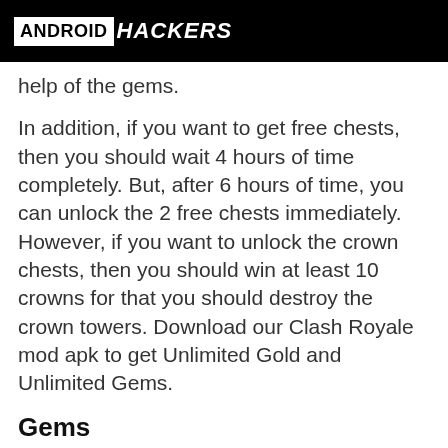ANDROID HACKERS
help of the gems.
In addition, if you want to get free chests, then you should wait 4 hours of time completely. But, after 6 hours of time, you can unlock the 2 free chests immediately. However, if you want to unlock the crown chests, then you should win at least 10 crowns for that you should destroy the crown towers. Download our Clash Royale mod apk to get Unlimited Gold and Unlimited Gems.
Gems
When compared to the other, the gems are most important to playing this game. With the help of the gems, you can easily and immediately unlock each and every chest in the game. Moreover, go to the